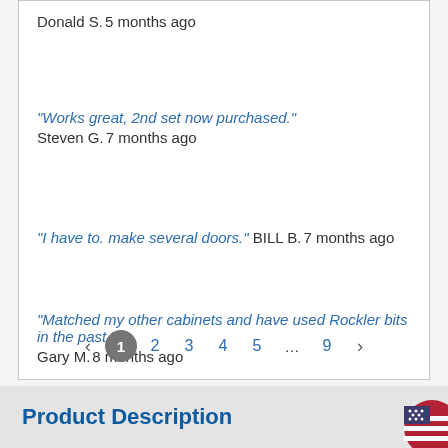Donald S. 5 months ago
"Works great, 2nd set now purchased." Steven G. 7 months ago
"I have to. make several doors." BILL B. 7 months ago
"Matched my other cabinets and have used Rockler bits in the past." Gary M. 8 months ago
Pagination: < 1 2 3 4 5 ... 9 >
Product Description